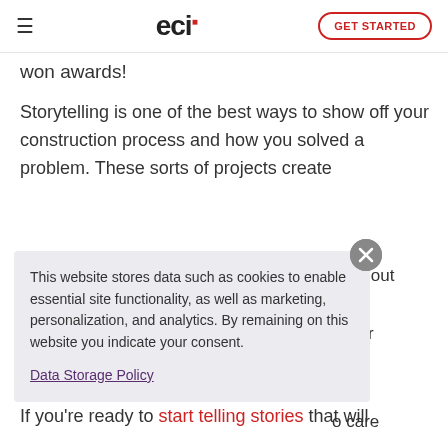eci — GET STARTED
won awards!
Storytelling is one of the best ways to show off your construction process and how you solved a problem. These sorts of projects create
This website stores data such as cookies to enable essential site functionality, as well as marketing, personalization, and analytics. By remaining on this website you indicate your consent.
Data Storage Policy
If you're ready to start telling stories that will